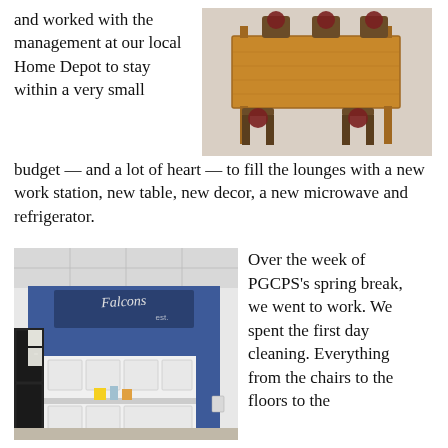and worked with the management at our local Home Depot to stay within a very small
[Figure (photo): A wooden dining table with four wooden chairs with red cushions, photographed in what appears to be a lounge or break room.]
budget — and a lot of heart — to fill the lounges with a new work station, new table, new decor, a new microwave and refrigerator.
[Figure (photo): Interior of a school lounge/break room with blue accent wall, white cabinets, a black refrigerator, and a 'Falcons' sign on the wall.]
Over the week of PGCPS's spring break, we went to work. We spent the first day cleaning. Everything from the chairs to the floors to the